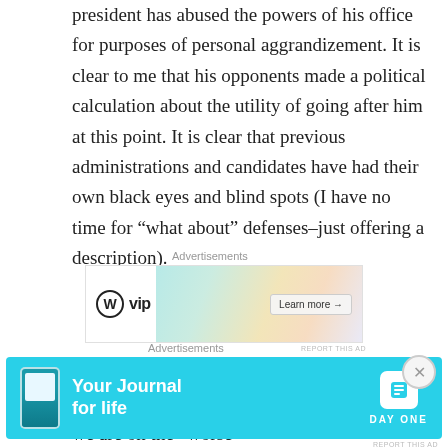president has abused the powers of his office for purposes of personal aggrandizement. It is clear to me that his opponents made a political calculation about the utility of going after him at this point. It is clear that previous administrations and candidates have had their own black eyes and blind spots (I have no time for “what about” defenses–just offering a description).
[Figure (other): WordPress VIP advertisement banner with colorful card backgrounds and 'Learn more' button]
There are worse human rulers and better human rulers. Right now in several countries we are on the “worse”
[Figure (other): Day One 'Your Journal for life' advertisement banner with phone image and cyan background]